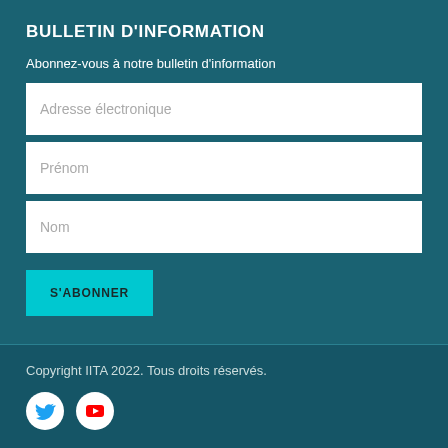BULLETIN D'INFORMATION
Abonnez-vous à notre bulletin d'information
Adresse électronique
Prénom
Nom
S'ABONNER
Copyright IITA 2022. Tous droits réservés.
[Figure (logo): Twitter bird icon in white circle]
[Figure (logo): YouTube play button icon in white circle]